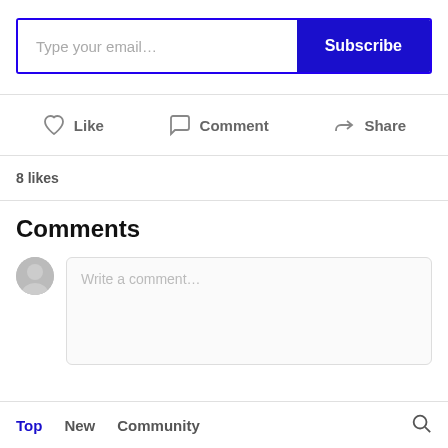[Figure (screenshot): Email subscription bar with text input placeholder 'Type your email...' and a blue Subscribe button]
Like
Comment
Share
8 likes
Comments
Write a comment...
Top  New  Community